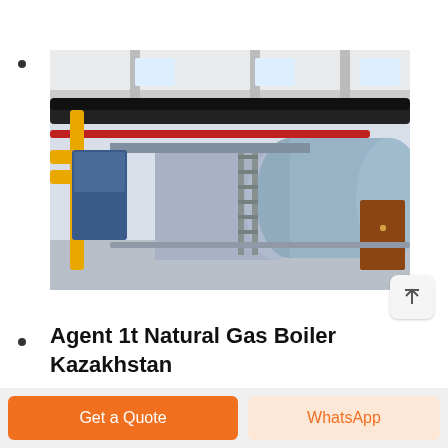[Figure (photo): Industrial boiler room with two large horizontal cylindrical steam boilers mounted on supports, yellow gas pipes on the left, metal ladders, large black exhaust pipes running along the ceiling, white interior walls with windows]
Agent 1t Natural Gas Boiler Kazakhstan
Agent 1t Natural Gas Fired Steam Boiler Boiler Brand Dealer Commercial 20t Kazakhstan. 1t Natural Gas Fired Boiler Agent Commercial...